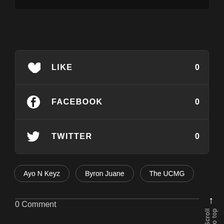[Figure (screenshot): Dark top bar / image remnant at top of page]
LIKE 0
FACEBOOK 0
TWITTER 0
Ayo N Keyz
Byron Juane
The UCMG
0 Comment
Scroll to top